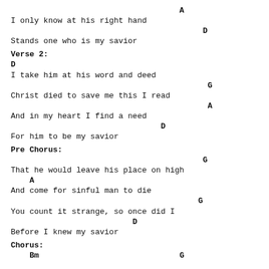A
I only know at his right hand
D
Stands one who is my savior
Verse 2:
D
I take him at his word and deed
G
Christ died to save me this I read
A
And in my heart I find a need
D
For him to be my savior
Pre Chorus:
G
That he would leave his place on high
A
And come for sinful man to die
G
You count it strange, so once did I
D
Before I knew my savior
Chorus:
Bm                              G